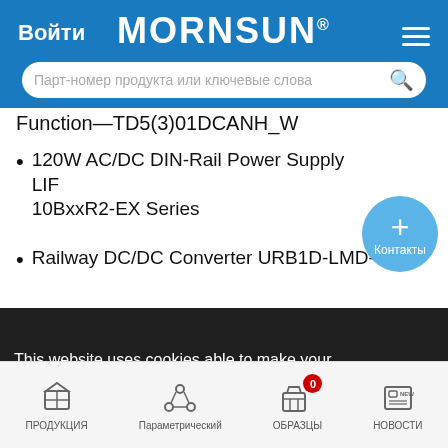[Figure (screenshot): Mornsun website header with blue background, login button, logo, hamburger menu, and search bar]
Function—TD5(3)01DCANH_W
120W AC/DC DIN-Rail Power Supply LIF 10BxxR2-EX Series
Railway DC/DC Converter URB1D-LMD-
This website uses cookies able to make your time on our site a lot less crummy and a much richer experience. For more information, please visit our Privacy Policy.
[Figure (infographic): Bottom navigation bar with icons for ПРОДУКЦИЯ, Параметрический, ОБРАЗЦЫ (with cart badge 0), НОВОСТИ]